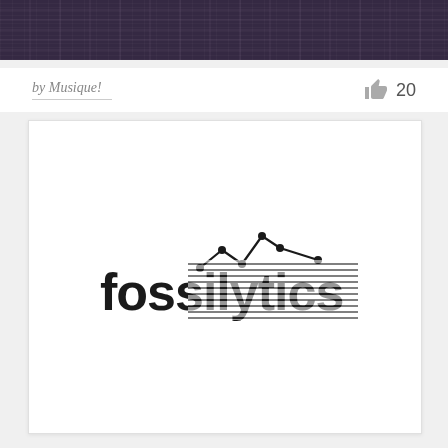[Figure (photo): Dark purple/indigo banner image showing a blurred cityscape or building facade pattern]
by Musique!
20
[Figure (logo): Fossilytics logo: bold lowercase text 'fossilytics' in black with a line-chart graph drawn above the letters 'llytics', with dots at data points]